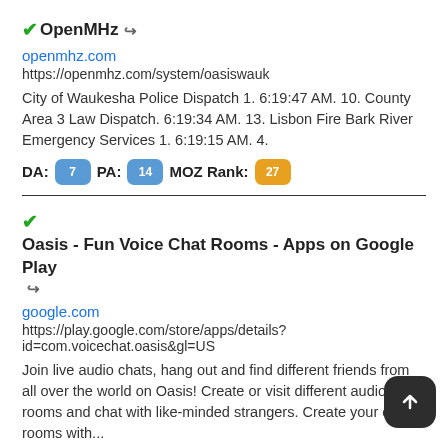✓ OpenMHz ↗
openmhz.com
https://openmhz.com/system/oasiswauk
City of Waukesha Police Dispatch 1. 6:19:47 AM. 10. County Area 3 Law Dispatch. 6:19:34 AM. 13. Lisbon Fire Bark River Emergency Services 1. 6:19:15 AM. 4.
DA: 7  PA: 14  MOZ Rank: 27
✓ Oasis - Fun Voice Chat Rooms - Apps on Google Play ↗
google.com
https://play.google.com/store/apps/details?id=com.voicechat.oasis&gl=US
Join live audio chats, hang out and find different friends from all over the world on Oasis! Create or visit different audio rooms and chat with like-minded strangers. Create your own rooms with...
DA: 90  PA: 35  MOZ Rank: 63